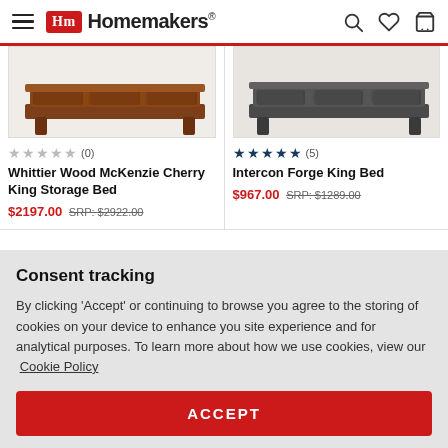Homemakers
[Figure (photo): Whittier Wood McKenzie Cherry King Storage Bed product photo]
[Figure (photo): Intercon Forge King Bed product photo]
★★★★★ (0) Whittier Wood McKenzie Cherry King Storage Bed $2197.00 SRP: $2922.00
★★★★★ (5) Intercon Forge King Bed $967.00 SRP: $1289.00
Consent tracking
By clicking 'Accept' or continuing to browse you agree to the storing of cookies on your device to enhance you site experience and for analytical purposes. To learn more about how we use cookies, view our Cookie Policy
ACCEPT